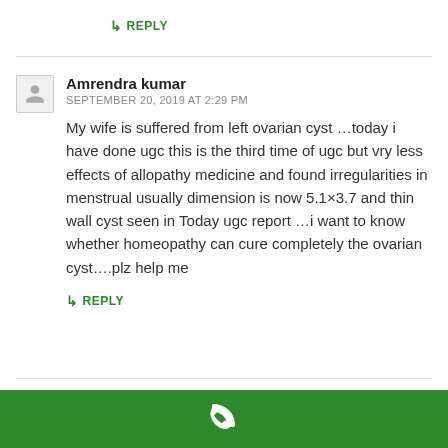↳ REPLY
Amrendra kumar
SEPTEMBER 20, 2019 AT 2:29 PM
My wife is suffered from left ovarian cyst …today i have done ugc this is the third time of ugc but vry less effects of allopathy medicine and found irregularities in menstrual usually dimension is now 5.1×3.7 and thin wall cyst seen in Today ugc report …i want to know whether homeopathy can cure completely the ovarian cyst….plz help me
↳ REPLY
★ Dr Deepan
[Figure (illustration): Green bar at bottom with white phone icon]